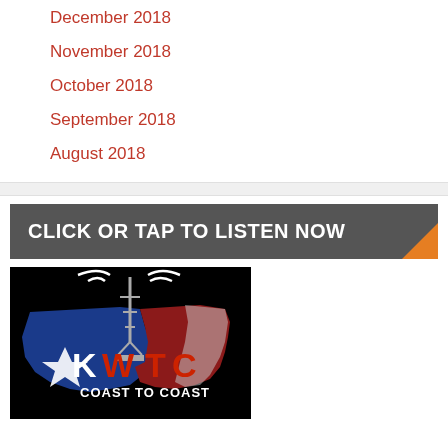December 2018
November 2018
October 2018
September 2018
August 2018
CLICK OR TAP TO LISTEN NOW
[Figure (logo): KWTC Coast to Coast radio station logo — black background with US map outline in Texas flag colors (red, white, blue), radio tower with signal waves, KWTC text in white and red letters, 'COAST TO COAST' subtitle in white]